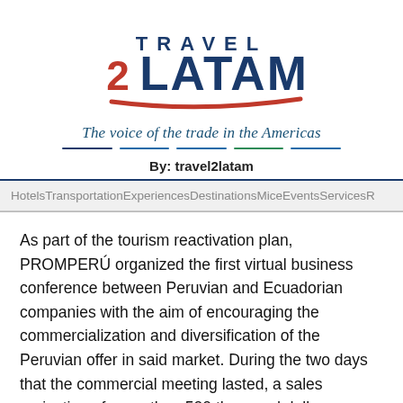[Figure (logo): Travel2Latam logo with red swoosh underline. 'TRAVEL' in dark blue letters above '2LATAM' where '2' is in red and 'LATAM' in dark blue, large bold letters.]
The voice of the trade in the Americas
By: travel2latam
HotelsTransportationExperiencesDestinationsMiceEventsServicesR
As part of the tourism reactivation plan, PROMPERÚ organized the first virtual business conference between Peruvian and Ecuadorian companies with the aim of encouraging the commercialization and diversification of the Peruvian offer in said market. During the two days that the commercial meeting lasted, a sales projection of more than 500 thousand dollars was achieved.